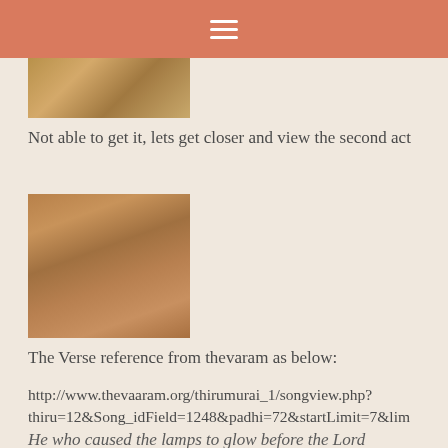≡
[Figure (photo): Partial view of a stone relief carving showing figures, cropped at top of page]
Not able to get it, lets get closer and view the second act
[Figure (photo): Close-up stone relief carving showing a crouching or bending human figure in terracotta/sandstone color]
The Verse reference from thevaram as below:
http://www.thevaaram.org/thirumurai_1/songview.php?thiru=12&Song_idField=1248&padhi=72&startLimit=7&lim
He who caused the lamps to glow before the Lord